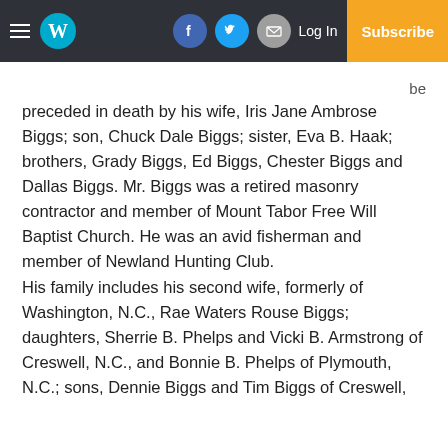W [logo] | Facebook | Twitter | Email | Log In | Subscribe
preceded in death by his wife, Iris Jane Ambrose Biggs; son, Chuck Dale Biggs; sister, Eva B. Haak; brothers, Grady Biggs, Ed Biggs, Chester Biggs and Dallas Biggs. Mr. Biggs was a retired masonry contractor and member of Mount Tabor Free Will Baptist Church. He was an avid fisherman and member of Newland Hunting Club. His family includes his second wife, formerly of Washington, N.C., Rae Waters Rouse Biggs; daughters, Sherrie B. Phelps and Vicki B. Armstrong of Creswell, N.C., and Bonnie B. Phelps of Plymouth, N.C.; sons, Dennie Biggs and Tim Biggs of Creswell,